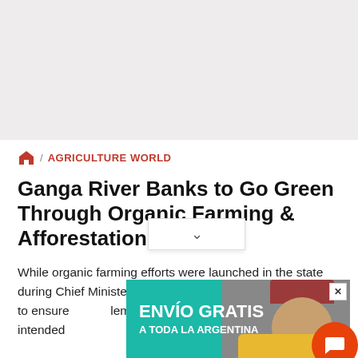[Figure (other): Gray banner/advertisement placeholder at the top of the page]
🏠 / AGRICULTURE WORLD
Ganga River Banks to Go Green Through Organic Farming & Afforestation
While organic farming efforts were launched in the state during Chief Minister Yogi Adityanath's first term, this move to ensure implementation on the Ganga's banks is intended to reduce pollutants
[Figure (other): Advertisement overlay showing 'ENVÍO GRATIS A TODA LA ARGENTINA' on teal background with person wearing red beanie hat]